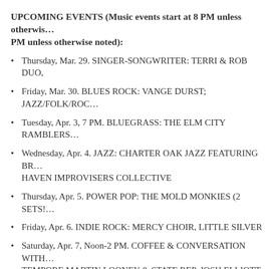UPCOMING EVENTS (Music events start at 8 PM unless otherwis… PM unless otherwise noted):
Thursday, Mar. 29. SINGER-SONGWRITER: TERRI & ROB DUO,
Friday, Mar. 30. BLUES ROCK: VANGE DURST; JAZZ/FOLK/ROC…
Tuesday, Apr. 3, 7 PM. BLUEGRASS: THE ELM CITY RAMBLERS…
Wednesday, Apr. 4. JAZZ: CHARTER OAK JAZZ FEATURING BR… HAVEN IMPROVISERS COLLECTIVE
Thursday, Apr. 5. POWER POP: THE MOLD MONKIES (2 SETS!…
Friday, Apr. 6. INDIE ROCK: MERCY CHOIR, LITTLE SILVER
Saturday, Apr. 7, Noon-2 PM. COFFEE & CONVERSATION WITH… TEMPORE MARTIN LOONEY & STATE REP. JOSH ELLIOTT
Sunday, Apr. 8, 2-5 PM. FREE MONTHLY SUNDAY GUITARTOW…